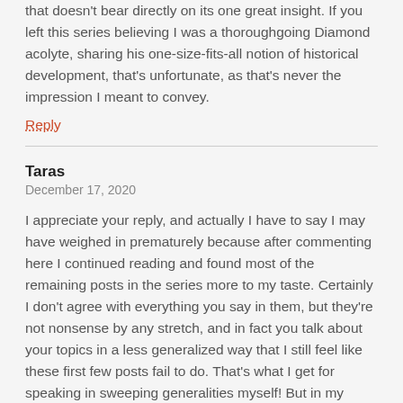that doesn't bear directly on its one great insight. If you left this series believing I was a thoroughgoing Diamond acolyte, sharing his one-size-fits-all notion of historical development, that's unfortunate, as that's never the impression I meant to convey.
Reply
Taras
December 17, 2020
I appreciate your reply, and actually I have to say I may have weighed in prematurely because after commenting here I continued reading and found most of the remaining posts in the series more to my taste. Certainly I don't agree with everything you say in them, but they're not nonsense by any stretch, and in fact you talk about your topics in a less generalized way that I still feel like these first few posts fail to do. That's what I get for speaking in sweeping generalities myself! But in my defense I was planning on commenting on the series as I went through it, but ended up saying most of what I had to say about my conceptual issues with the series in this first post.